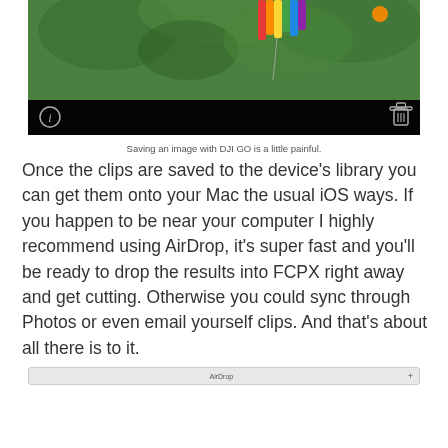[Figure (screenshot): Screenshot of DJI GO app showing a colorful kite or balloon among trees viewed from below, with a dark toolbar at the bottom containing an info icon (circle-i) on the left and a trash/delete icon on the right.]
Saving an image with DJI GO is a little painful.
Once the clips are saved to the device’s library you can get them onto your Mac the usual iOS ways. If you happen to be near your computer I highly recommend using AirDrop, it’s super fast and you’ll be ready to drop the results into FCPX right away and get cutting. Otherwise you could sync through Photos or even email yourself clips. And that’s about all there is to it.
[Figure (screenshot): A narrow gray AirDrop panel/bar with centered label text ‘AirDrop’ and a small plus icon on the right.]